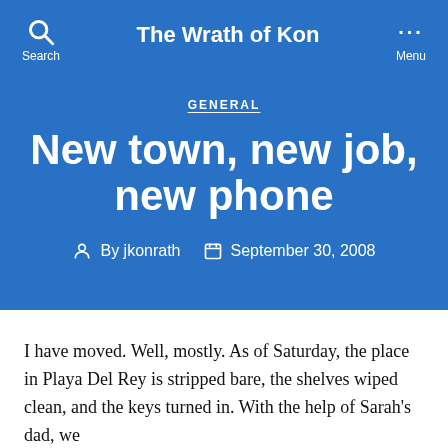The Wrath of Kon
GENERAL
New town, new job, new phone
By jkonrath   September 30, 2008
I have moved. Well, mostly. As of Saturday, the place in Playa Del Rey is stripped bare, the shelves wiped clean, and the keys turned in. With the help of Sarah's dad, we